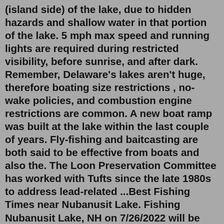(island side) of the lake, due to hidden hazards and shallow water in that portion of the lake. 5 mph max speed and running lights are required during restricted visibility, before sunrise, and after dark. Remember, Delaware's lakes aren't huge, therefore boating size restrictions , no-wake policies, and combustion engine restrictions are common. A new boat ramp was built at the lake within the last couple of years. Fly-fishing and baitcasting are both said to be effective from boats and also the. The Loon Preservation Committee has worked with Tufts since the late 1980s to address lead-related ...Best Fishing Times near Nubanusit Lake. Fishing Nubanusit Lake, NH on 7/26/2022 will be best from 12:00AM through 12:00AM, and from 12:00AM to 12:00AM. If those times won't work for you, 12:00AM to 12:00AM looks promising , as does 12:00AM to 12:00AM Remember to adjust these times based on barometric pressure, and weather changes. Sep 25, 2019 · Nubanusit and Spoonwood. This past Friday delivered perfect conditions for exploring Nubanusit Lake and